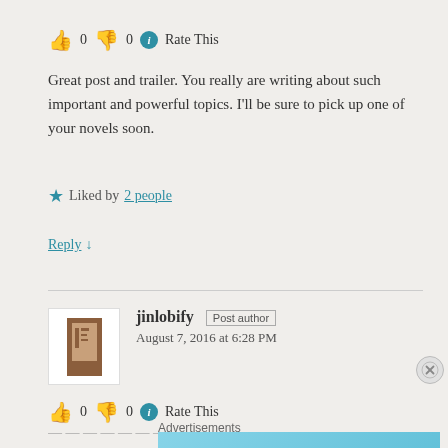👍 0 👎 0 ℹ Rate This
Great post and trailer. You really are writing about such important and powerful topics. I'll be sure to pick up one of your novels soon.
★ Liked by 2 people
Reply ↓
jinlobify Post author
August 7, 2016 at 6:28 PM
👍 0 👎 0 ℹ Rate This
[Figure (screenshot): Advertisement banner for DayOne journaling app with text 'The only journaling app you'll ever need.']